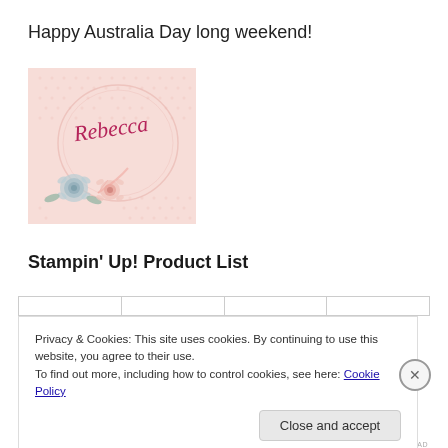Happy Australia Day long weekend!
[Figure (illustration): Pink floral greeting card with cursive 'Rebecca' text and watercolor roses]
Stampin' Up! Product List
|  |  |  |  |
| --- | --- | --- | --- |
Privacy & Cookies: This site uses cookies. By continuing to use this website, you agree to their use.
To find out more, including how to control cookies, see here: Cookie Policy
Close and accept